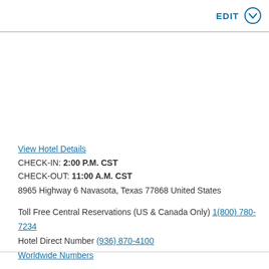EDIT
View Hotel Details
CHECK-IN: 2:00 P.M. CST
CHECK-OUT: 11:00 A.M. CST
8965 Highway 6 Navasota, Texas 77868 United States
Toll Free Central Reservations (US & Canada Only) 1(800) 780-7234
Hotel Direct Number (936) 870-4100
Worldwide Numbers